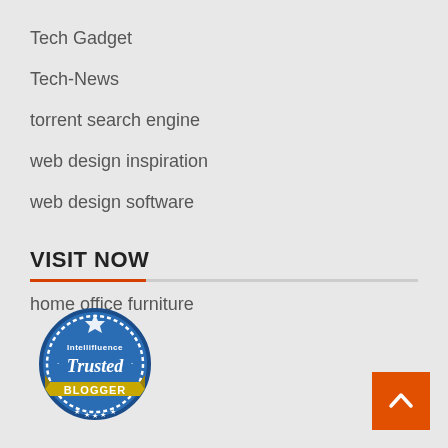Tech Gadget
Tech-News
torrent search engine
web design inspiration
web design software
VISIT NOW
home office furniture
[Figure (logo): Intellifluence Trusted Blogger badge — circular blue badge with gold ribbon banner reading BLOGGER]
[Figure (other): Orange back-to-top button with upward chevron arrow]